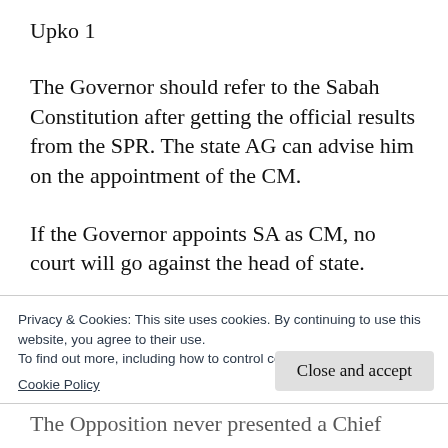Upko 1
The Governor should refer to the Sabah Constitution after getting the official results from the SPR. The state AG can advise him on the appointment of the CM.
If the Governor appoints SA as CM, no court will go against the head of state.
If the Governor appoints another lawmaker as
Privacy & Cookies: This site uses cookies. By continuing to use this website, you agree to their use.
To find out more, including how to control cookies, see here:
Cookie Policy
Close and accept
The Opposition never presented a Chief